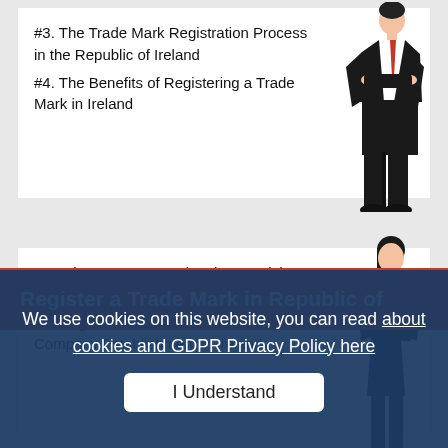#3. The Trade Mark Registration Process in the Republic of Ireland
#4. The Benefits of Registering a Trade Mark in Ireland
[Figure (illustration): Business man in black suit standing with arms crossed]
#5. Advantages to Registering an Irish Trademark with Coddan
#6. Register a Trademark with a New Company Establishment in Ireland
[Figure (illustration): Business woman in black suit standing with arms crossed]
Register a Trade Mark in Republic of
We use cookies on this website, you can read about cookies and GDPR Privacy Policy here
I Understand